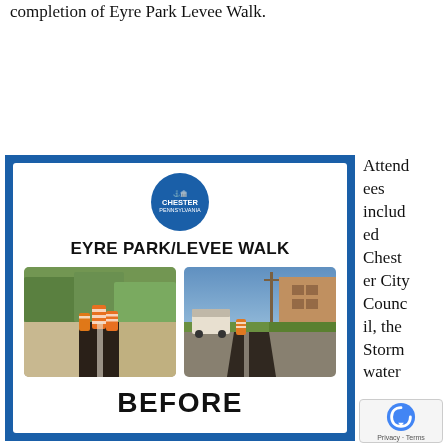completion of Eyre Park Levee Walk.
[Figure (photo): Eyre Park/Levee Walk before photo flyer with Chester Pennsylvania logo, two construction site photos side by side showing gravel path with orange barrels and road work, labeled 'EYRE PARK/LEVEE WALK' and 'BEFORE']
Attendees included Chester City Council, the Stormwater Authority of Chester staff, representatives from the Pennsylvania Environmental Council and the East Coast Greenway Alliance, personnel from the city Parks department, Lisa Gaffney, Executive Director of the Chester Economic Development Authority, Mayor William Domber, if...